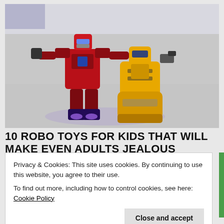[Figure (photo): Two Transformer-style robot toys on a white surface. Left robot is red and blue (Optimus Prime style) with purple glowing feet. Right robot is yellow and gray (Bumblebee style). Background is blurred white/gray.]
10 ROBO TOYS FOR KIDS THAT WILL MAKE EVEN ADULTS JEALOUS
Privacy & Cookies: This site uses cookies. By continuing to use this website, you agree to their use.
To find out more, including how to control cookies, see here: Cookie Policy
Close and accept
[Figure (photo): Partial bottom image, appears to show another toy or robot, partially visible.]